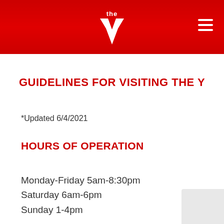the Y (YMCA logo)
GUIDELINES FOR VISITING THE Y
*Updated 6/4/2021
HOURS OF OPERATION
Monday-Friday 5am-8:30pm
Saturday 6am-6pm
Sunday 1-4pm